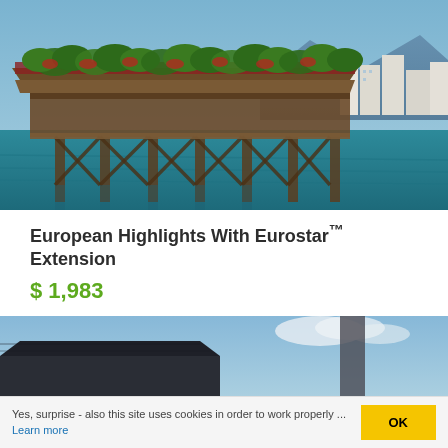[Figure (photo): Wooden covered bridge with flower boxes over teal lake water, mountains and buildings in background — likely Chapel Bridge in Lucerne, Switzerland]
European Highlights With Eurostar™ Extension
$ 1,983
ADD TO WISH LIST
[Figure (photo): Partial view of a building with historic architecture under a blue sky, partially cut off at bottom of page]
Yes, surprise - also this site uses cookies in order to work properly ... Learn more
OK